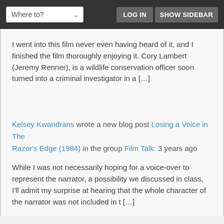Where to? | LOG IN | SHOW SIDEBAR
I went into this film never even having heard of it, and I finished the film thoroughly enjoying it. Cory Lambert (Jeremy Renner), is a wildlife conservation officer soon turned into a criminal investigator in a […]
Kelsey Kwandrans wrote a new blog post Losing a Voice in The Razor's Edge (1984) in the group Film Talk: 3 years ago
While I was not necessarily hoping for a voice-over to represent the narrator, a possibility we discussed in class, I'll admit my surprise at hearing that the whole character of the narrator was not included in t […]